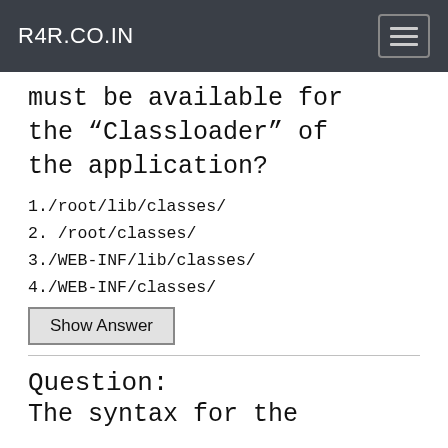R4R.CO.IN
must be available for the “Classloader” of the application?
1./root/lib/classes/
2. /root/classes/
3./WEB-INF/lib/classes/
4./WEB-INF/classes/
Show Answer
Question:
The syntax for the